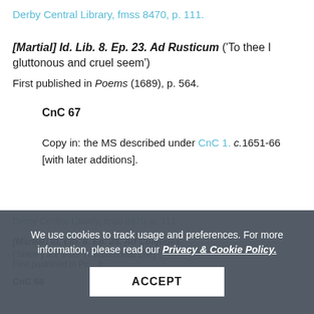Derby Central Library, fmss 8470, p. 111.
[Martial] Id. Lib. 8. Ep. 23. Ad Rusticum ('To thee I gluttonous and cruel seem')
First published in Poems (1689), p. 564.
CnC 67
Copy in: the MS described under CnC 1. c.1651-66 [with later additions].
We use cookies to track usage and preferences. For more information, please read our Privacy & Cookie Policy.
ACCEPT